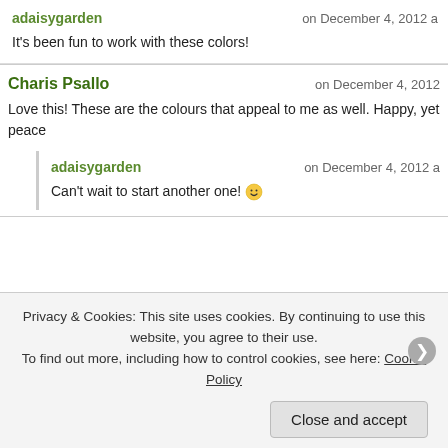adaisygarden on December 4, 2012 a
It's been fun to work with these colors!
Charis Psallo on December 4, 2012
Love this! These are the colours that appeal to me as well. Happy, yet peace
adaisygarden on December 4, 2012 a
Can't wait to start another one! 🙂
12
Privacy & Cookies: This site uses cookies. By continuing to use this website, you agree to their use. To find out more, including how to control cookies, see here: Cookie Policy
Close and accept